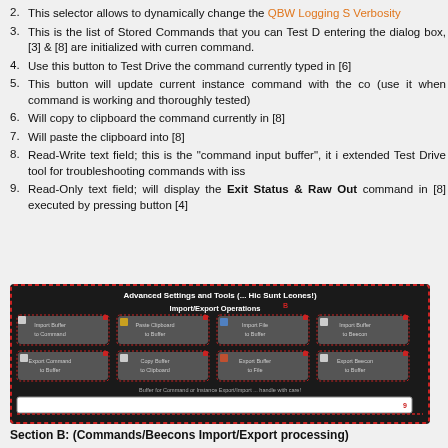2. This selector allows to dynamically change the QBW Logging S Verbosity
3. This is the list of Stored Commands that you can Test D entering the dialog box, [3] & [8] are initialized with curren command.
4. Use this button to Test Drive the command currently typed in [6]
5. This button will update current instance command with the co (use it when command is working and thoroughly tested)
6. Will copy to clipboard the command currently in [8]
7. Will paste the clipboard into [8]
8. Read-Write text field; this is the "command input buffer", it i extended Test Drive tool for troubleshooting commands with iss
9. Read-Only text field; will display the Exit Status & Raw Out command in [8] executed by pressing button [4]
[Figure (screenshot): Screenshot of Advanced Settings and Tools dialog showing Import/Export Operations buttons panel with a dark theme. Contains buttons: Import Buffer to Command, Paste Clipboard to Buffer, Import File to Buffer, Import Buffer to Beecon, Export Command to Buffer, Copy Buffer to Clipboard, Export Buffer to File, Export Beecon to Buffer. Below is a text field labeled 'Buffer for Command or Instance Export/Import ... handle with care!' with a numbered marker 9.]
Section B: (Commands/Beecons Import/Export processing)